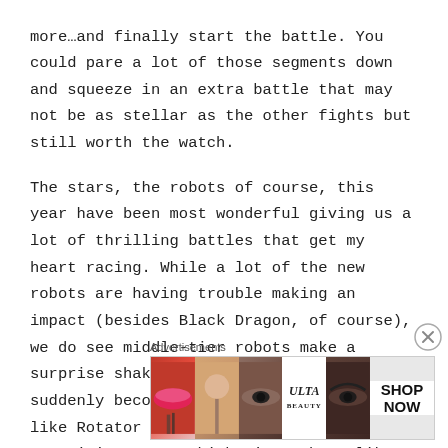more…and finally start the battle. You could pare a lot of those segments down and squeeze in an extra battle that may not be as stellar as the other fights but still worth the watch.
The stars, the robots of course, this year have been most wonderful giving us a lot of thrilling battles that get my heart racing. While a lot of the new robots are having trouble making an impact (besides Black Dragon, of course), we do see middle-tier robots make a surprise shake up in the arena and suddenly become the buzz of the internet like Rotator and Deathroll. It is equally surprising to see high tier robots like Minotaur struggle to deliver KOs and wins that we come to
[Figure (other): Advertisement banner for ULTA beauty showing cosmetic images (lips, makeup brush, eye with makeup, ULTA logo, eye with makeup) with a SHOP NOW call-to-action button]